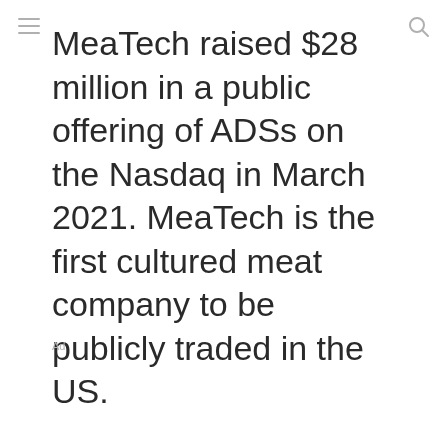MeaTech raised $28 million in a public offering of ADSs on the Nasdaq in March 2021. MeaTech is the first cultured meat company to be publicly traded in the US.
Ad